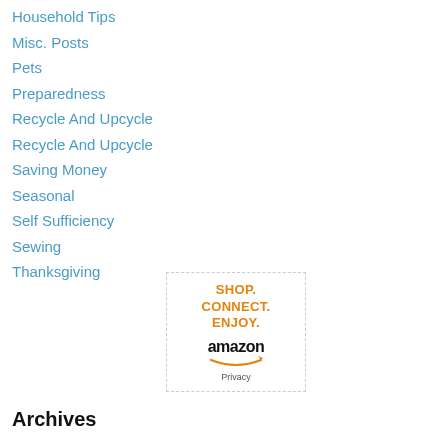Household Tips
Misc. Posts
Pets
Preparedness
Recycle And Upcycle
Recycle And Upcycle
Saving Money
Seasonal
Self Sufficiency
Sewing
Thanksgiving
[Figure (other): Amazon advertisement box with text SHOP. CONNECT. ENJOY. and Amazon logo with smile arrow, and Privacy text below]
Archives